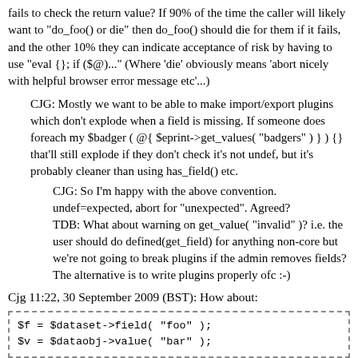fails to check the return value? If 90% of the time the caller will likely want to "do_foo() or die" then do_foo() should die for them if it fails, and the other 10% they can indicate acceptance of risk by having to use "eval {}; if ($@)..." (Where 'die' obviously means 'abort nicely with helpful browser error message etc'...)
CJG: Mostly we want to be able to make import/export plugins which don't explode when a field is missing. If someone does foreach my $badger ( @{ $eprint->get_values( "badgers" ) } ) {} that'll still explode if they don't check it's not undef, but it's probably cleaner than using has_field() etc.
CJG: So I'm happy with the above convention. undef=expected, abort for "unexpected". Agreed?
TDB: What about warning on get_value( "invalid" )? i.e. the user should do defined(get_field) for anything non-core but we're not going to break plugins if the admin removes fields? The alternative is to write plugins properly ofc :-)
Cjg 11:22, 30 September 2009 (BST): How about:
[Figure (screenshot): Code block with dashed border showing: $f = $dataset->field( "foo" ); $v = $dataobj->value( "bar" );]
$... is the value of the field OR undef if the field is not defined, and f...